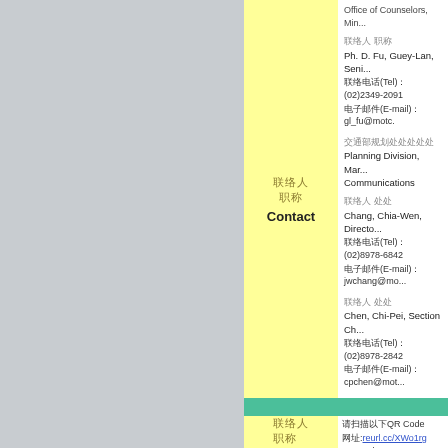Office of Counselors, Min...
联络人职称 / Ph. D. Fu, Guey-Lan, Seni...
联络电话(Tel)：(02)2349-2091
电子邮件(E-mail)：gl_fu@motc.
交通部规划司 / Planning Division, Mar... Communications
联络人 / Chang, Chia-Wen, Directo...
联络电话(Tel)：(02)8978-6842
电子邮件(E-mail)：jwchang@mo...
联络人 / Chen, Chi-Pei, Section Ch...
联络电话(Tel)：(02)8978-2842
电子邮件(E-mail)：cpchen@mot...
联络人职称 Contact
请扫描以下QR Code 网址:reurl.cc/XWo1rg QR Code下
联络人职称